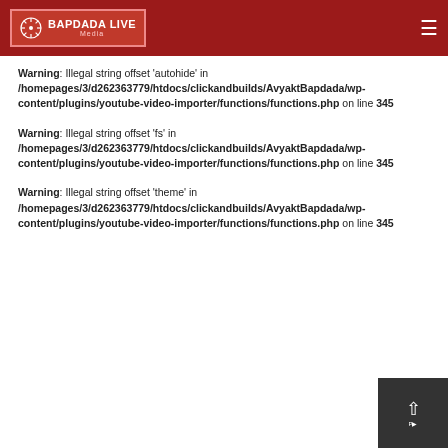BAPDADA LIVE Media
Warning: Illegal string offset 'autohide' in /homepages/3/d262363779/htdocs/clickandbuilds/AvyaktBapdada/wp-content/plugins/youtube-video-importer/functions/functions.php on line 345
Warning: Illegal string offset 'fs' in /homepages/3/d262363779/htdocs/clickandbuilds/AvyaktBapdada/wp-content/plugins/youtube-video-importer/functions/functions.php on line 345
Warning: Illegal string offset 'theme' in /homepages/3/d262363779/htdocs/clickandbuilds/AvyaktBapdada/wp-content/plugins/youtube-video-importer/functions/functions.php on line 345